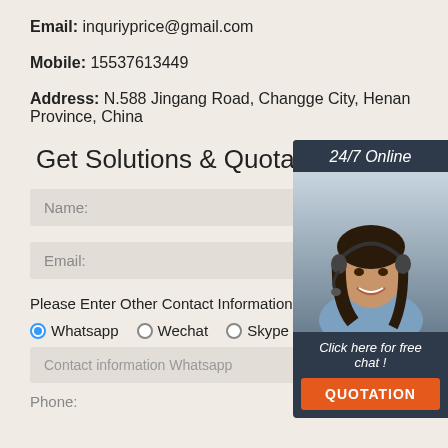Email: inquriyprice@gmail.com
Mobile: 15537613449
Address: N.588 Jingang Road, Changge City, Henan Province, China
Get Solutions & Quotation
Name:
Email:
Please Enter Other Contact Information
Whatsapp  Wechat  Skype  Viber
Contact information Whatsapp
Phone:
[Figure (illustration): 24/7 online chat widget with woman wearing headset, 'Click here for free chat!' text and orange QUOTATION button]
[Figure (illustration): Orange TOP button with dots arranged in triangle above the word TOP]